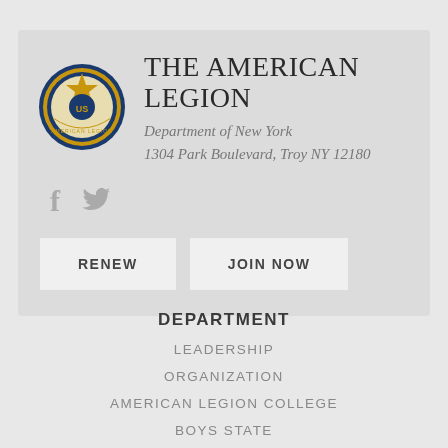[Figure (logo): The American Legion circular emblem/seal with blue border, gold star, and eagle in center]
THE AMERICAN LEGION
Department of New York
1304 Park Boulevard, Troy NY 12180
[Figure (infographic): Social media icons: Facebook and Twitter]
RENEW
JOIN NOW
DEPARTMENT
LEADERSHIP
ORGANIZATION
AMERICAN LEGION COLLEGE
BOYS STATE
CHILDREN & YOUTH